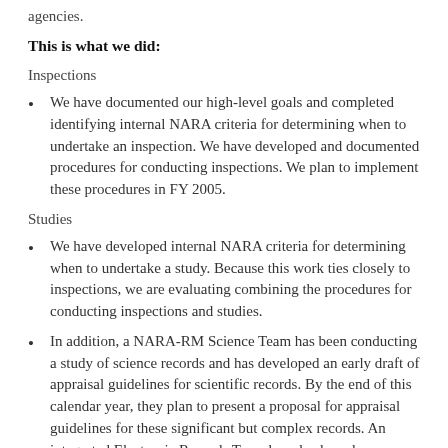agencies.
This is what we did:
Inspections
We have documented our high-level goals and completed identifying internal NARA criteria for determining when to undertake an inspection. We have developed and documented procedures for conducting inspections. We plan to implement these procedures in FY 2005.
Studies
We have developed internal NARA criteria for determining when to undertake a study. Because this work ties closely to inspections, we are evaluating combining the procedures for conducting inspections and studies.
In addition, a NARA-RM Science Team has been conducting a study of science records and has developed an early draft of appraisal guidelines for scientific records. By the end of this calendar year, they plan to present a proposal for appraisal guidelines for these significant but complex records. An integrated Electronic Records Team has also been busy studying the extent of unscheduled electronic records systems in the Government and has